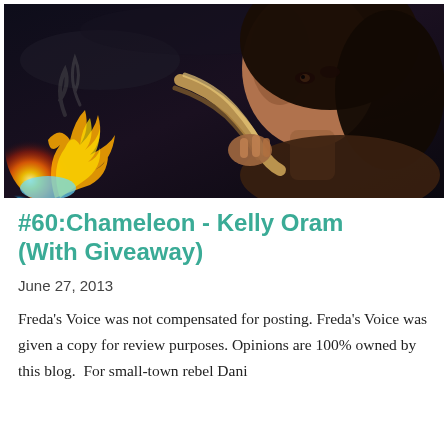[Figure (photo): Dark fantasy book cover style photo: a young woman with long dark hair and striking eyes holding what appears to be a rope or twisted material, with fire and a glowing orb on the left side, dark moody background.]
#60:Chameleon - Kelly Oram (With Giveaway)
June 27, 2013
Freda's Voice was not compensated for posting. Freda's Voice was given a copy for review purposes. Opinions are 100% owned by this blog.  For small-town rebel Dani